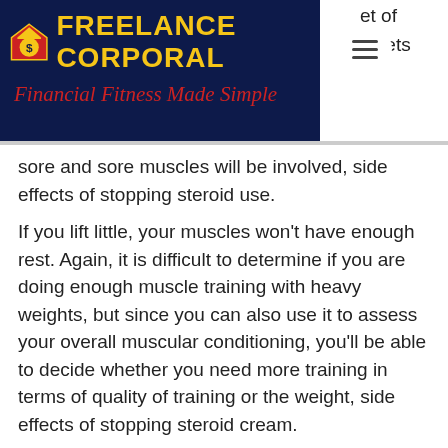[Figure (logo): Freelance Corporal logo with dark navy header, yellow shield/house icon with dollar sign, yellow bold text 'FREELANCE CORPORAL', red italic tagline 'Financial Fitness Made Simple', and a white circular hamburger menu icon on the right.]
et of e sets sore and sore muscles will be involved, side effects of stopping steroid use.
If you lift little, your muscles won't have enough rest. Again, it is difficult to determine if you are doing enough muscle training with heavy weights, but since you can also use it to assess your overall muscular conditioning, you'll be able to decide whether you need more training in terms of quality of training or the weight, side effects of stopping steroid cream.
How do I avoid being overweight, side effects of stopping steroids quickly?